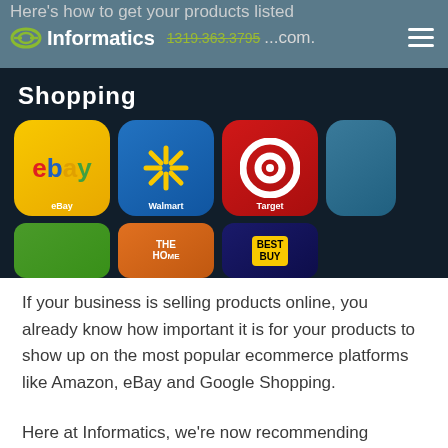Here's how to get your products listed and selling on Webstores.com. | Informatics | 1319.363.3795
[Figure (photo): Smartphone screen showing Shopping apps including eBay, Walmart, Target, Home Depot, Best Buy and other retail app icons on a dark background.]
If your business is selling products online, you already know how important it is for your products to show up on the most popular ecommerce platforms like Amazon, eBay and Google Shopping.
Here at Informatics, we're now recommending